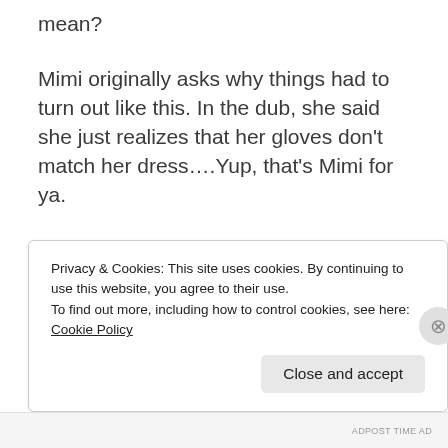mean?
Mimi originally asks why things had to turn out like this. In the dub, she said she just realizes that her gloves don’t match her dress….Yup, that’s Mimi for ya.
Likewise, Palmon only says “Mimi” after this line. In the dub, Palmon says, seriously mind you, “How sad.”
Privacy & Cookies: This site uses cookies. By continuing to use this website, you agree to their use.
To find out more, including how to control cookies, see here: Cookie Policy
Close and accept